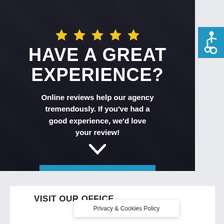[Figure (screenshot): Dark background banner with person wearing suit and tie, partially visible hands, with star icons overlaid at top]
HAVE A GREAT EXPERIENCE?
Online reviews help our agency tremendously. If you've had a good experience, we'd love your review!
[Figure (illustration): White downward chevron/check icon]
LEAVE REVIEW
[Figure (illustration): Blue square accessibility icon with wheelchair symbol]
VISIT OUR OFFICE
Privacy & Cookies Policy